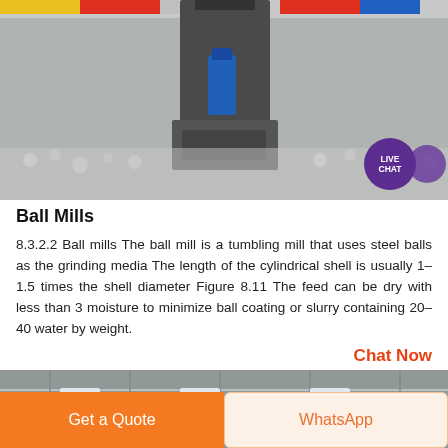[Figure (photo): Industrial ball mill machinery with steel balls visible in foreground, machinery arm in center, colorful striped background]
Ball Mills
8.3.2.2 Ball mills The ball mill is a tumbling mill that uses steel balls as the grinding media The length of the cylindrical shell is usually 1–1.5 times the shell diameter Figure 8.11 The feed can be dry with less than 3 moisture to minimize ball coating or slurry containing 20–40 water by weight.
Chat Now
[Figure (photo): Industrial interior with metal roof structure, fluorescent lighting, and large cylindrical machinery (ball mill)]
Get a Quote
WhatsApp